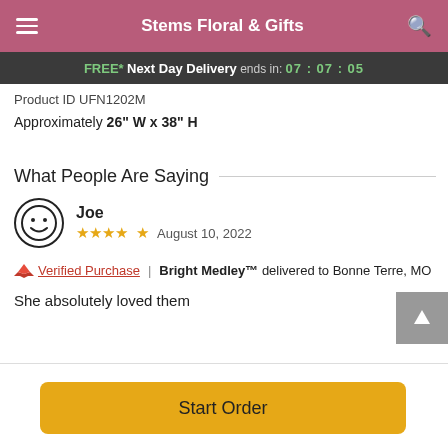Stems Floral & Gifts
FREE* Next Day Delivery ends in: 07:07:05
Product ID UFN1202M
Approximately 26" W x 38" H
What People Are Saying
Joe — ★★★★★ August 10, 2022
Verified Purchase | Bright Medley™ delivered to Bonne Terre, MO
She absolutely loved them
Start Order